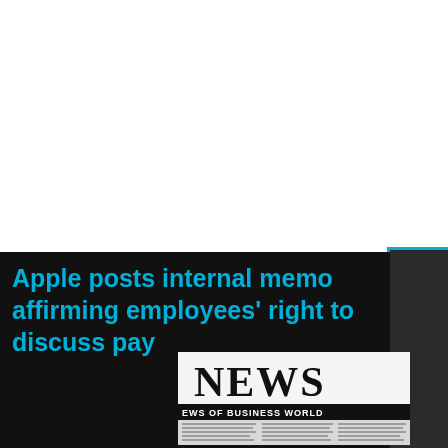Apple posts internal memo affirming employees' right to discuss pay
[Figure (photo): Close-up photo of a newspaper with large bold 'NEWS' headline and subheading 'EWS OF BUSINESS WORLD', with columns of small print text below, slightly blurred]